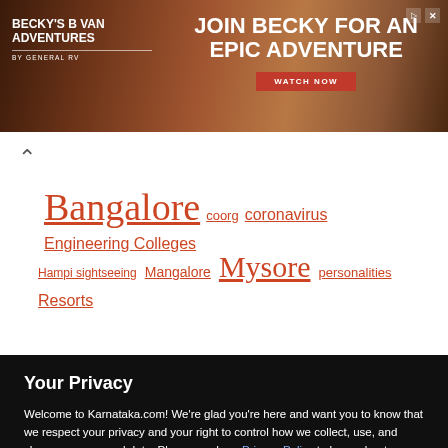[Figure (other): Advertisement banner for Becky's B Van Adventures by General RV. Left side shows white bold text 'BECKY'S B VAN ADVENTURES BY GENERAL RV' on dark reddish-brown background with a person photo. Right side reads 'JOIN BECKY FOR AN EPIC ADVENTURE' with a red 'WATCH NOW' button. Small play and close icons in top right.]
Bangalore coorg coronavirus Engineering Colleges
Hampi sightseeing Mangalore Mysore personalities Resorts
Your Privacy
Welcome to Karnataka.com! We're glad you're here and want you to know that we respect your privacy and your right to control how we collect, use, and share your personal data. Please read our Privacy Policy to learn about our privacy practices.
I UNDERSTAND